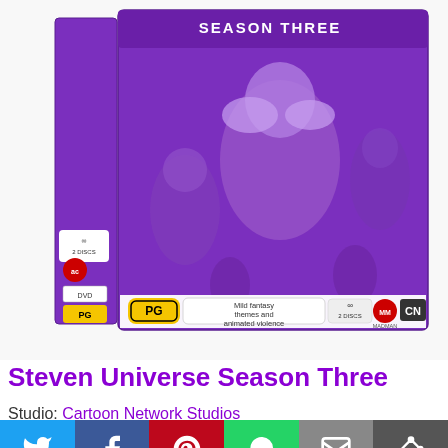[Figure (photo): Steven Universe Season Three DVD box set with purple cover art showing animated characters, PG rating badge with 'Mild fantasy themes and animated violence', 2 Discs logo, Madman logo, Cartoon Network logo]
Steven Universe Season Three
Studio: Cartoon Network Studios